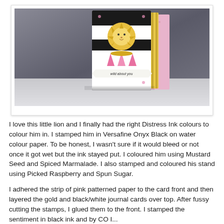[Figure (photo): A handmade greeting card displayed upright on a surface. The card features a lion character in the center with black and white horizontal stripes, pink patterned paper background, gold striped journal card, and a banner reading 'wild about you' at the bottom.]
I love this little lion and I finally had the right Distress Ink colours to colour him in. I stamped him in Versafine Onyx Black on water colour paper. To be honest, I wasn't sure if it would bleed or not once it got wet but the ink stayed put. I coloured him using Mustard Seed and Spiced Marmalade. I also stamped and coloured his stand using Picked Raspberry and Spun Sugar.
I adhered the strip of pink patterned paper to the card front and then layered the gold and black/white journal cards over top. After fussy cutting the stamps, I glued them to the front. I stamped the sentiment in black ink and by CO I...